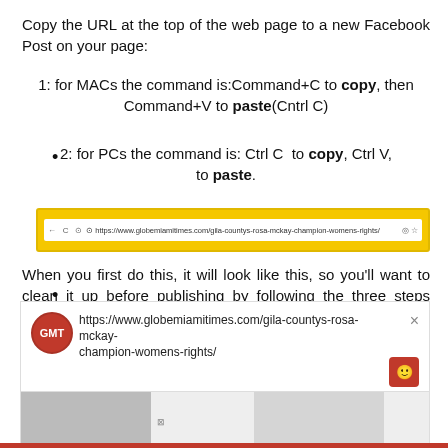Copy the URL at the top of the web page to a new Facebook Post on your page:
1: for MACs the command is:Command+C to copy, then Command+V to paste(Cntrl C)
2: for PCs the command is: Ctrl C  to copy, Ctrl V, to paste.
[Figure (screenshot): Browser address bar showing URL https://www.globemiamitimes.com/gila-countys-rosa-mckay-champion-womens-rights/ with yellow background]
When you first do this, it will look like this, so you’ll want to clean it up before publishing by following the three steps below.
[Figure (screenshot): Facebook post preview showing GMT logo, URL https://www.globemiamitimes.com/gila-countys-rosa-mckay-champion-womens-rights/, close button, emoji button, and image thumbnails at bottom]